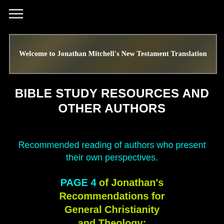[Figure (other): Hamburger menu icon (three horizontal lines) in top-left corner]
[Figure (illustration): Banner image with decorative carved stone/mosaic background and centered text: Welcome to Jonathan Mitchell's New Testament Translation]
BIBLE STUDY RESOURCES AND OTHER AUTHORS
Recommended reading of authors who present their own perspectives.
PAGE 4 of Jonathan's Recommendations for General Christianity and Theology: